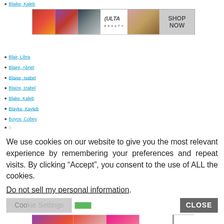Blaike, Kaleb
[Figure (photo): ULTA beauty advertisement banner with makeup images and 'SHOP NOW' button]
Blair, Libra
Blaire, Abriel
Blaise, Isabel
Blaize, Izabel
Blake, Kaleb
Blayke, Kayleb
Boyce, Cobey
We use cookies on our website to give you the most relevant experience by remembering your preferences and repeat visits. By clicking “Accept”, you consent to the use of ALL the cookies.
Do not sell my personal information.
[Figure (photo): MAC cosmetics advertisement with lipsticks and 'SHOP NOW' button]